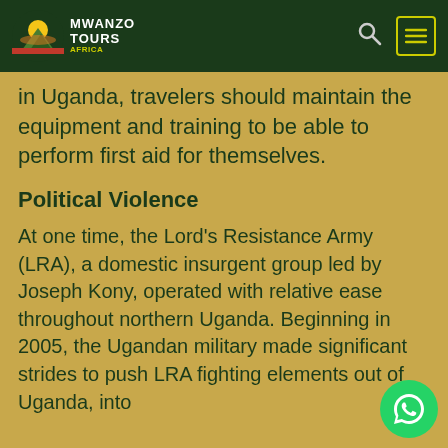MWANZO TOURS
in Uganda, travelers should maintain the equipment and training to be able to perform first aid for themselves.
Political Violence
At one time, the Lord's Resistance Army (LRA), a domestic insurgent group led by Joseph Kony, operated with relative ease throughout northern Uganda. Beginning in 2005, the Ugandan military made significant strides to push LRA fighting elements out of Uganda, into